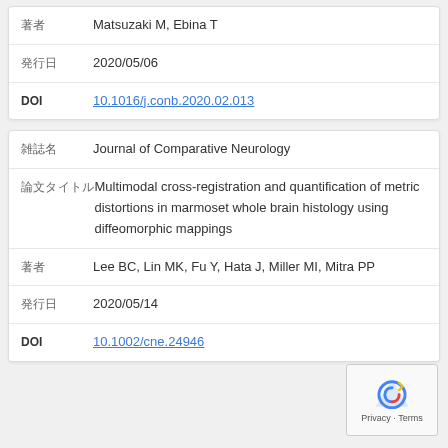| Field | Value |
| --- | --- |
| 著者 | Matsuzaki M, Ebina T |
| 発行日 | 2020/05/06 |
| DOI | 10.1016/j.conb.2020.02.013 |
| Field | Value |
| --- | --- |
| 雑誌名 | Journal of Comparative Neurology |
| 論文タイトル | Multimodal cross-registration and quantification of metric distortions in marmoset whole brain histology using diffeomorphic mappings |
| 著者 | Lee BC, Lin MK, Fu Y, Hata J, Miller MI, Mitra PP |
| 発行日 | 2020/05/14 |
| DOI | 10.1002/cne.24946 |